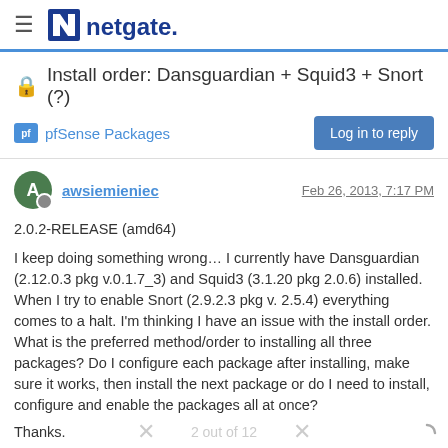netgate.
Install order: Dansguardian + Squid3 + Snort (?)
pfSense Packages
Log in to reply
awsiemieniec — Feb 26, 2013, 7:17 PM
2.0.2-RELEASE (amd64)
I keep doing something wrong… I currently have Dansguardian (2.12.0.3 pkg v.0.1.7_3) and Squid3 (3.1.20 pkg 2.0.6) installed.  When I try to enable Snort (2.9.2.3 pkg v. 2.5.4) everything comes to a halt.  I'm thinking I have an issue with the install order.  What is the preferred method/order to installing all three packages?  Do I configure each package after installing, make sure it works, then install the next package or do I need to install, configure and enable the packages all at once?
Thanks.
2 out of 12